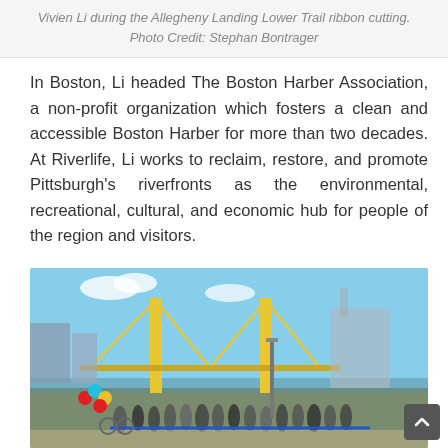Vivien Li during the Allegheny Landing Lower Trail ribbon cutting. Photo Credit: Stephan Bontrager
In Boston, Li headed The Boston Harber Association, a non-profit organization which fosters a clean and accessible Boston Harber for more than two decades. At Riverlife, Li works to reclaim, restore, and promote Pittsburgh's riverfronts as the environmental, recreational, cultural, and economic hub for people of the region and visitors.
[Figure (photo): Group photo of people at a ribbon cutting ceremony for the Allegheny Landing Lower Trail, with a yellow bridge and stadium visible in the background under blue sky. Colorful balloons are on the left. People hold a blue ribbon across the trail.]